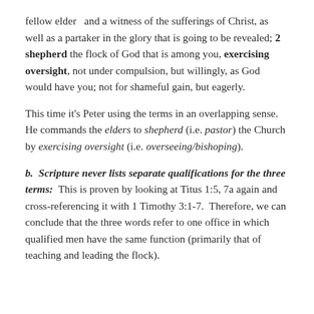fellow elder  and a witness of the sufferings of Christ, as well as a partaker in the glory that is going to be revealed; 2 shepherd the flock of God that is among you, exercising oversight, not under compulsion, but willingly, as God would have you; not for shameful gain, but eagerly.
This time it's Peter using the terms in an overlapping sense.  He commands the elders to shepherd (i.e. pastor) the Church by exercising oversight (i.e. overseeing/bishoping).
b.  Scripture never lists separate qualifications for the three terms:  This is proven by looking at Titus 1:5, 7a again and cross-referencing it with 1 Timothy 3:1-7.  Therefore, we can conclude that the three words refer to one office in which qualified men have the same function (primarily that of teaching and leading the flock).